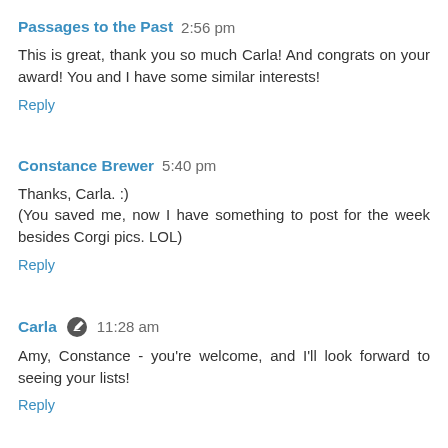Passages to the Past 2:56 pm
This is great, thank you so much Carla! And congrats on your award! You and I have some similar interests!
Reply
Constance Brewer 5:40 pm
Thanks, Carla. :)
(You saved me, now I have something to post for the week besides Corgi pics. LOL)
Reply
Carla 11:28 am
Amy, Constance - you're welcome, and I'll look forward to seeing your lists!
Reply